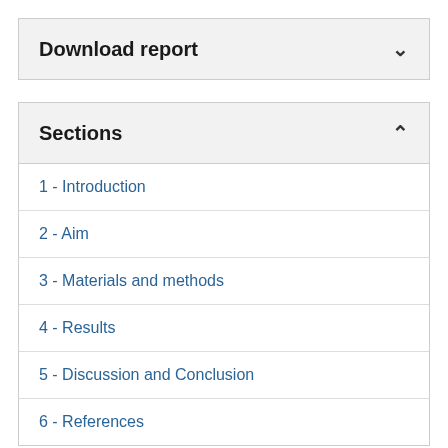Download report
Sections
1 - Introduction
2 - Aim
3 - Materials and methods
4 - Results
5 - Discussion and Conclusion
6 - References